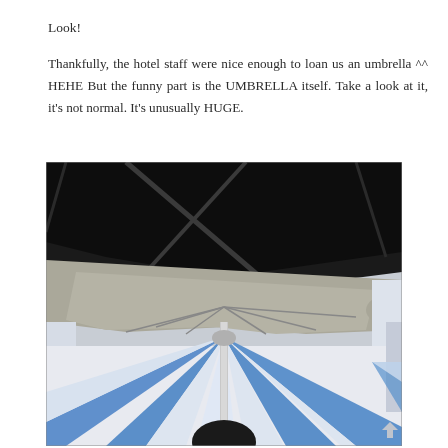Look!
Thankfully, the hotel staff were nice enough to loan us an umbrella ^^ HEHE But the funny part is the UMBRELLA itself. Take a look at it, it's not normal. It's unusually HUGE.
[Figure (photo): Photo taken looking up at two large umbrellas from below. The top portion shows a large black structure (ceiling or very large umbrella canopy) with crossed support poles visible. Below it is a grey/beige large umbrella canopy with metal ribs. In the lower half, a blue and white striped beach umbrella is visible with its pole, and a dark silhouette of a person's head at the bottom center. Bright sky visible around the edges.]